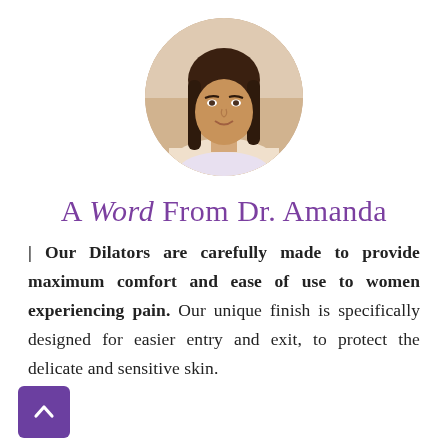[Figure (photo): Circular portrait photo of Dr. Amanda, a woman with long dark hair smiling, wearing a light-colored top.]
A Word From Dr. Amanda
Our Dilators are carefully made to provide maximum comfort and ease of use to women experiencing pain. Our unique finish is specifically designed for easier entry and exit, to protect the delicate and sensitive skin.